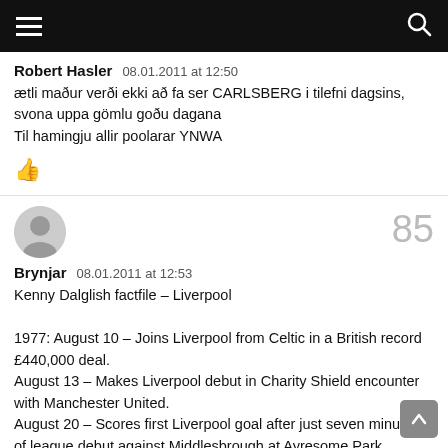Robert Hasler   08.01.2011 at 12:50
ætli maður verði ekki að fa ser CARLSBERG i tilefni dagsins, svona uppa gömlu goðu dagana
Til hamingju allir poolarar YNWA
👍
85
Brynjar   08.01.2011 at 12:53
Kenny Dalglish factfile – Liverpool

1977: August 10 – Joins Liverpool from Celtic in a British record £440,000 deal.
August 13 – Makes Liverpool debut in Charity Shield encounter with Manchester United.
August 20 – Scores first Liverpool goal after just seven minutes of league debut against Middlesbrough at Ayresome Park.